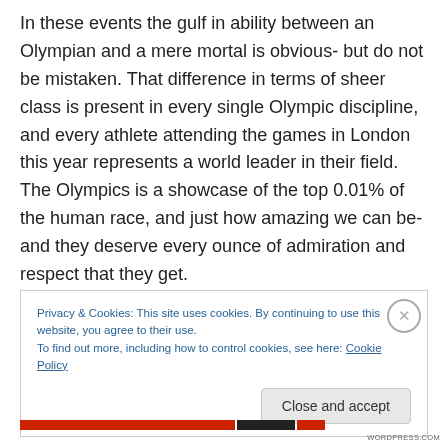In these events the gulf in ability between an Olympian and a mere mortal is obvious- but do not be mistaken. That difference in terms of sheer class is present in every single Olympic discipline, and every athlete attending the games in London this year represents a world leader in their field. The Olympics is a showcase of the top 0.01% of the human race, and just how amazing we can be- and they deserve every ounce of admiration and respect that they get.
Privacy & Cookies: This site uses cookies. By continuing to use this website, you agree to their use.
To find out more, including how to control cookies, see here: Cookie Policy
Close and accept